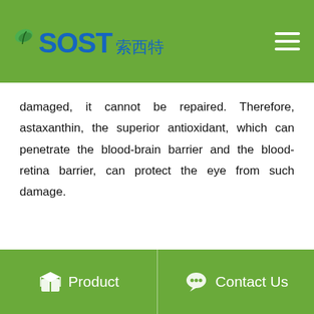SOST 索西特
damaged, it cannot be repaired. Therefore, astaxanthin, the superior antioxidant, which can penetrate the blood-brain barrier and the blood-retina barrier, can protect the eye from such damage.
Product   Contact Us